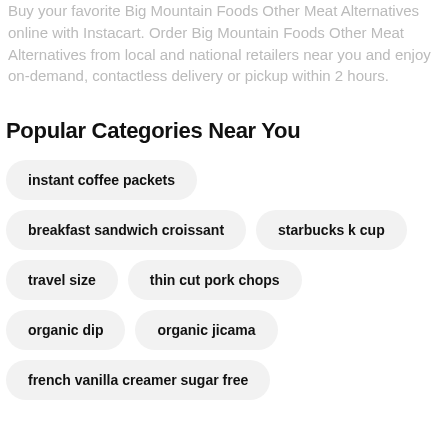Buy your favorite Big Mountain Foods Other Meat Alternatives online with Instacart. Order Big Mountain Foods Other Meat Alternatives from local and national retailers near you and enjoy on-demand, contactless delivery or pickup within 2 hours.
Popular Categories Near You
instant coffee packets
breakfast sandwich croissant
starbucks k cup
travel size
thin cut pork chops
organic dip
organic jicama
french vanilla creamer sugar free